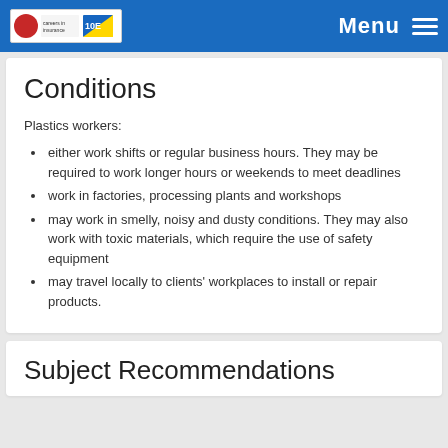Menu
Conditions
Plastics workers:
either work shifts or regular business hours. They may be required to work longer hours or weekends to meet deadlines
work in factories, processing plants and workshops
may work in smelly, noisy and dusty conditions. They may also work with toxic materials, which require the use of safety equipment
may travel locally to clients' workplaces to install or repair products.
Subject Recommendations